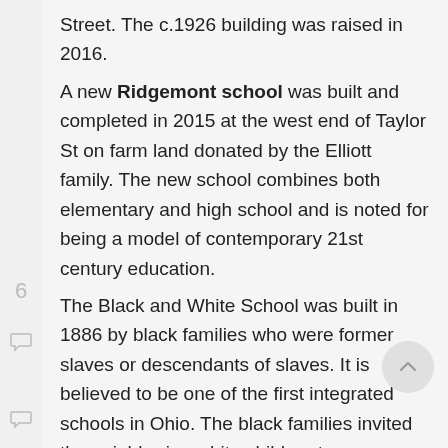Street. The c.1926 building was raised in 2016. A new Ridgemont school was built and completed in 2015 at the west end of Taylor St on farm land donated by the Elliott family. The new school combines both elementary and high school and is noted for being a model of contemporary 21st century education. The Black and White School was built in 1886 by black families who were former slaves or descendants of slaves. It is believed to be one of the first integrated schools in Ohio. The black families invited the neighboring white children to was needed. The school still stands on the corner of SR 31 and CR 190 near the path of the Underground Railroad on the Old